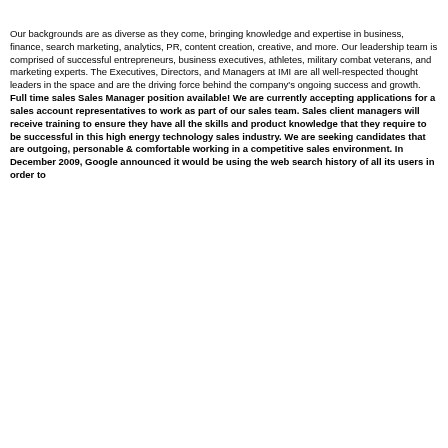Our backgrounds are as diverse as they come, bringing knowledge and expertise in business, finance, search marketing, analytics, PR, content creation, creative, and more. Our leadership team is comprised of successful entrepreneurs, business executives, athletes, military combat veterans, and marketing experts. The Executives, Directors, and Managers at IMI are all well-respected thought leaders in the space and are the driving force behind the company's ongoing success and growth. Full time sales Sales Manager position available! We are currently accepting applications for a sales account representatives to work as part of our sales team. Sales client managers will receive training to ensure they have all the skills and product knowledge that they require to be successful in this high energy technology sales industry. We are seeking candidates that are outgoing, personable & comfortable working in a competitive sales environment. In December 2009, Google announced it would be using the web search history of all its users in order to